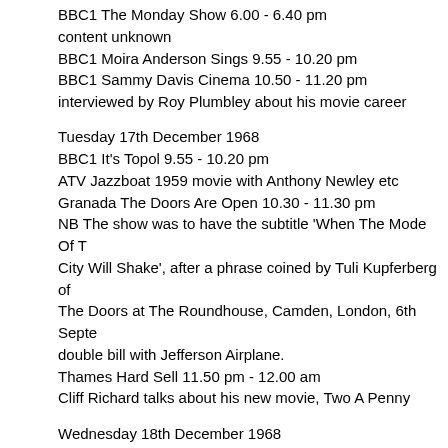BBC1 The Monday Show 6.00 - 6.40 pm
content unknown
BBC1 Moira Anderson Sings 9.55 - 10.20 pm
BBC1 Sammy Davis Cinema 10.50 - 11.20 pm
interviewed by Roy Plumbley about his movie career
Tuesday 17th December 1968
BBC1 It's Topol 9.55 - 10.20 pm
ATV Jazzboat 1959 movie with Anthony Newley etc
Granada The Doors Are Open 10.30 - 11.30 pm
NB The show was to have the subtitle 'When The Mode Of T
City Will Shake', after a phrase coined by Tuli Kupferberg of
The Doors at The Roundhouse, Camden, London, 6th Septe
double bill with Jefferson Airplane.
Thames Hard Sell 11.50 pm - 12.00 am
Cliff Richard talks about his new movie, Two A Penny
Wednesday 18th December 1968
BBC1 The Wednesday Show 6.00 - 6.40 pm
content unknown
BBC1 Clown Alley 7.30 - 8.20 pm
Red Skelton special with Bobby Rydell
Southern Little Big Time 4.55 - 5.20 pm
Freddie and The Dreamers
Thames Mike And Bernie's Show 6.45 - 7.30 pm
John Paul Jones plays guitar and the show continues...